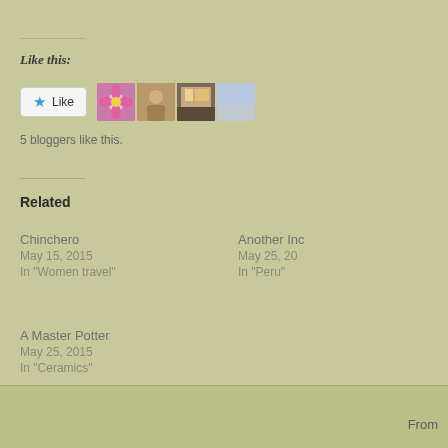Like this:
[Figure (other): Like button widget with star icon and 4 blogger avatar thumbnails]
5 bloggers like this.
Related
Chinchero
May 15, 2015
In "Women travel"
Another Inc
May 25, 20
In "Peru"
A Master Potter
May 25, 2015
In "Ceramics"
From